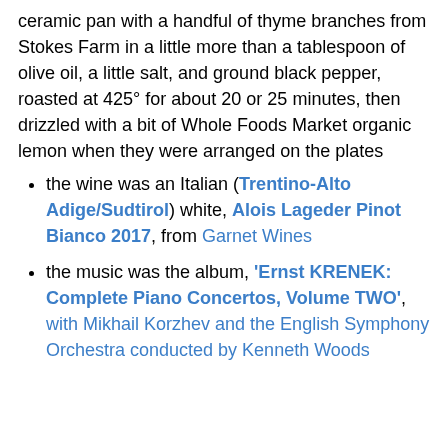ceramic pan with a handful of thyme branches from Stokes Farm in a little more than a tablespoon of olive oil, a little salt, and ground black pepper, roasted at 425° for about 20 or 25 minutes, then drizzled with a bit of Whole Foods Market organic lemon when they were arranged on the plates
the wine was an Italian (Trentino-Alto Adige/Sudtirol) white, Alois Lageder Pinot Bianco 2017, from Garnet Wines
the music was the album, 'Ernst KRENEK: Complete Piano Concertos, Volume TWO', with Mikhail Korzhev and the English Symphony Orchestra conducted by Kenneth Woods